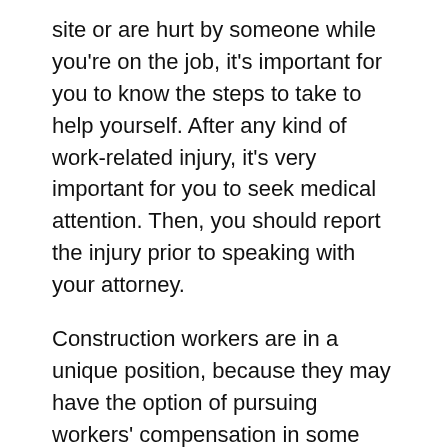site or are hurt by someone while you're on the job, it's important for you to know the steps to take to help yourself. After any kind of work-related injury, it's very important for you to seek medical attention. Then, you should report the injury prior to speaking with your attorney.
Construction workers are in a unique position, because they may have the option of pursuing workers' compensation in some cases. Other times, when they are not employees of the person who hired them in to do the job, they may need to make a personal injury claim.
Third-party businesses or individuals could be to blame